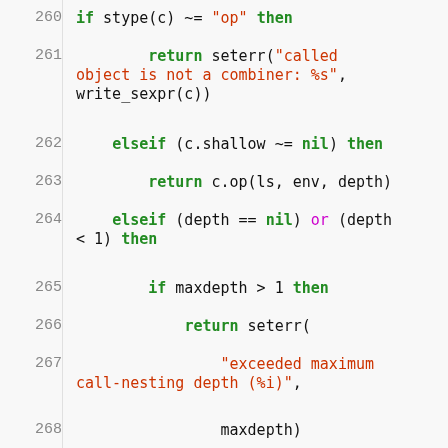Code listing lines 260-271: Lua/Lisp-style interpreter code showing error handling for combiner dispatch including stype checks, shallow checks, depth checks, and nested call depth error reporting.